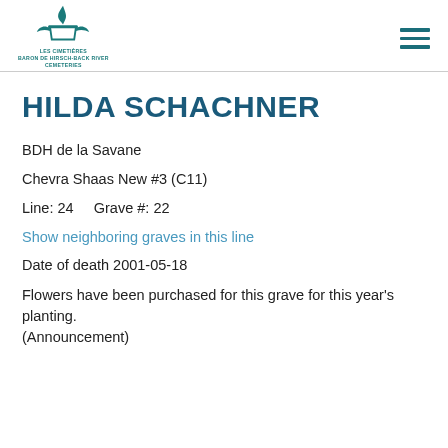Baron de Hirsch-Back River Cemeteries logo and navigation
HILDA SCHACHNER
BDH de la Savane
Chevra Shaas New #3 (C11)
Line: 24     Grave #: 22
Show neighboring graves in this line
Date of death 2001-05-18
Flowers have been purchased for this grave for this year's planting. (Announcement)